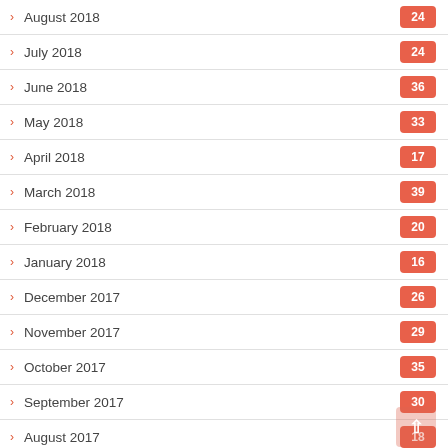August 2018 — 24
July 2018 — 24
June 2018 — 36
May 2018 — 33
April 2018 — 17
March 2018 — 39
February 2018 — 20
January 2018 — 16
December 2017 — 26
November 2017 — 29
October 2017 — 35
September 2017 — 30
August 2017 — 18
July 2017 — 6
June 2017 — 35